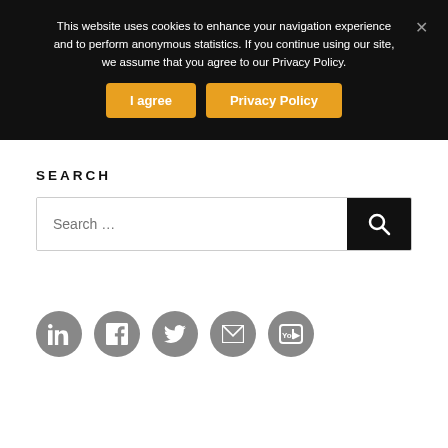This website uses cookies to enhance your navigation experience and to perform anonymous statistics. If you continue using our site, we assume that you agree to our Privacy Policy.
I agree
Privacy Policy
SEARCH
[Figure (screenshot): Search input box with black search button on the right containing a magnifying glass icon]
[Figure (infographic): Five gray circular social media icons: LinkedIn, Facebook, Twitter, Email/Mail, YouTube]